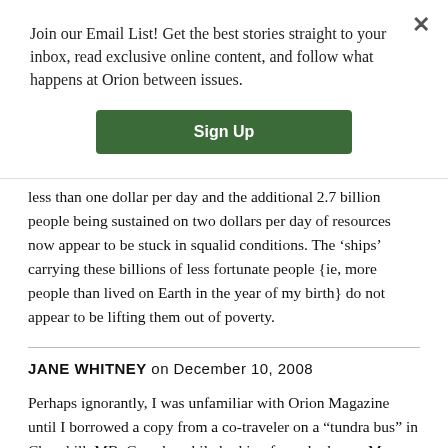Join our Email List! Get the best stories straight to your inbox, read exclusive online content, and follow what happens at Orion between issues.
[Figure (other): Green 'Sign Up' button for email list]
less than one dollar per day and the additional 2.7 billion people being sustained on two dollars per day of resources now appear to be stuck in squalid conditions. The ‘ships’ carrying these billions of less fortunate people {ie, more people than lived on Earth in the year of my birth} do not appear to be lifting them out of poverty.
JANE WHITNEY on December 10, 2008
Perhaps ignorantly, I was unfamiliar with Orion Magazine until I borrowed a copy from a co-traveler on a “tundra bus” in Churchill, MB, Canada, while looking for polar bears. Mr. Safina’s commentary astounded me for being so similar to